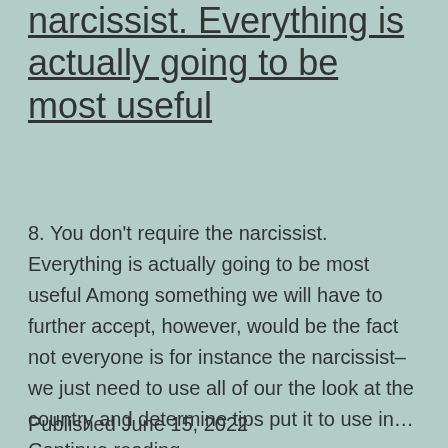narcissist. Everything is actually going to be most useful
8. You don't require the narcissist. Everything is actually going to be most useful Among something we will have to further accept, however, would be the fact not everyone is for instance the narcissist– we just need to use all of our the look at the country and determine tips put it to use in… Continue reading
Published June 15, 2022